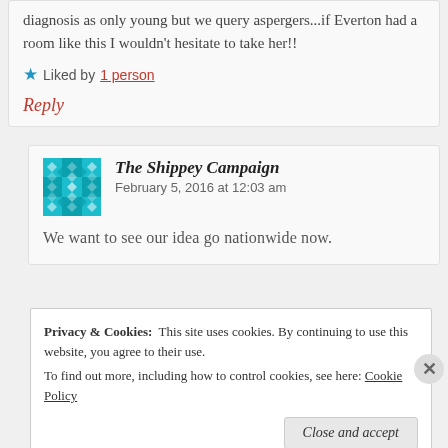diagnosis as only young but we query aspergers...if Everton had a room like this I wouldn't hesitate to take her!!
Liked by 1 person
Reply
The Shippey Campaign  February 5, 2016 at 12:03 am
We want to see our idea go nationwide now.
Privacy & Cookies:  This site uses cookies. By continuing to use this website, you agree to their use. To find out more, including how to control cookies, see here: Cookie Policy
Close and accept